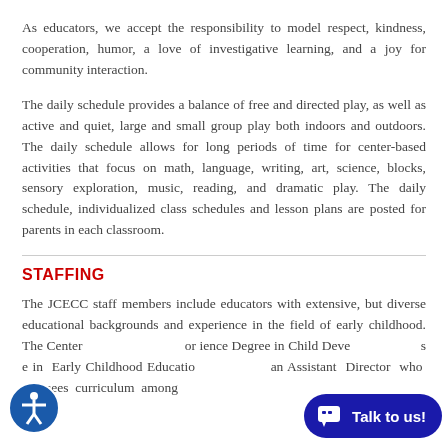As educators, we accept the responsibility to model respect, kindness, cooperation, humor, a love of investigative learning, and a joy for community interaction.
The daily schedule provides a balance of free and directed play, as well as active and quiet, large and small group play both indoors and outdoors. The daily schedule allows for long periods of time for center-based activities that focus on math, language, writing, art, science, blocks, sensory exploration, music, reading, and dramatic play. The daily schedule, individualized class schedules and lesson plans are posted for parents in each classroom.
STAFFING
The JCECC staff members include educators with extensive, but diverse educational backgrounds and experience in the field of early childhood. The Center… or ience Degree in Child Deve… s e in Early Childhood Educatio… an Assistant Director who oversees curriculum among